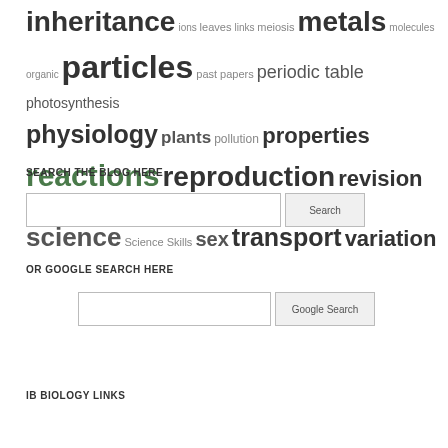inheritance ions leaves links meiosis metals molecules organic particles past papers periodic table photosynthesis physiology plants pollution properties reactions reproduction revision RNA science Science Skills sex transport variation
SEARCH THE BLOG HERE
OR GOOGLE SEARCH HERE
IB BIOLOGY LINKS